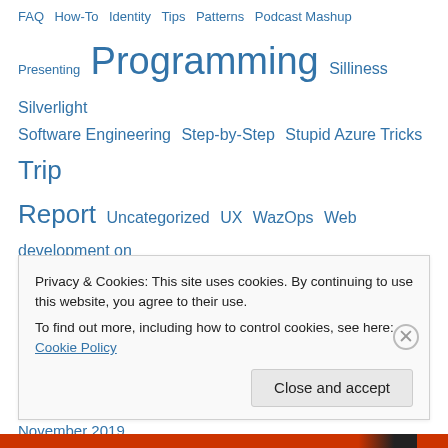FAQ  How-To  Identity  Tips  Patterns  Podcast Mashup  Presenting  Programming  Silliness  Silverlight  Software Engineering  Step-by-Step  Stupid Azure Tricks  Trip Report  Uncategorized  UX  WazOps  Web development on bostonazure.org  Windows Azure How To  Windows Phone 7  XML
Archives
November 2021
December 2020
November 2019
Privacy & Cookies: This site uses cookies. By continuing to use this website, you agree to their use.
To find out more, including how to control cookies, see here: Cookie Policy